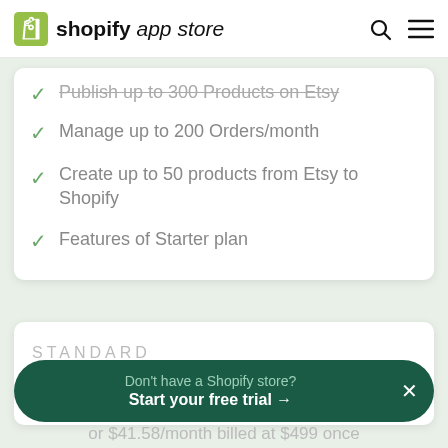shopify app store
Publish up to 300 Products on Etsy
Manage up to 200 Orders/month
Create up to 50 products from Etsy to Shopify
Features of Starter plan
STANDARD
Don't have a Shopify store? Start your free trial →
or $41.58/month billed at $499 once